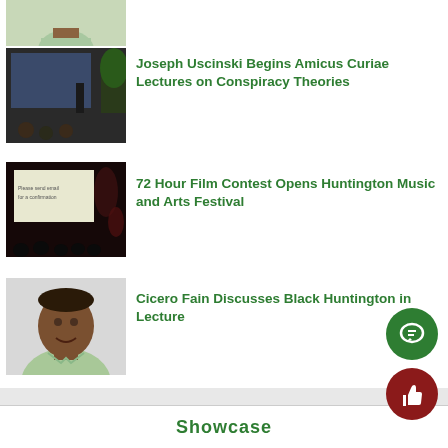[Figure (photo): Partial photo of a man in a green shirt, cropped at top of page]
[Figure (photo): Joseph Uscinski giving a lecture in a conference room with audience]
Joseph Uscinski Begins Amicus Curiae Lectures on Conspiracy Theories
[Figure (photo): Audience in a darkened cinema/theater watching a screen that reads 'Please send emails for a confirmation']
72 Hour Film Contest Opens Huntington Music and Arts Festival
[Figure (photo): Headshot of Cicero Fain, a man in a light green shirt]
Cicero Fain Discusses Black Huntington in Lecture
Showcase